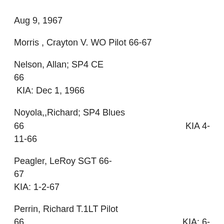Aug 9, 1967
Morris , Crayton V. WO Pilot 66-67
Nelson, Allan; SP4 CE
66
 KIA: Dec 1, 1966
Noyola,,Richard; SP4 Blues
66                                                          KIA 4-
11-66
Peagler, LeRoy SGT 66-
67
KIA: 1-2-67
Perrin, Richard T.1LT Pilot
66                                                          KIA: 6-